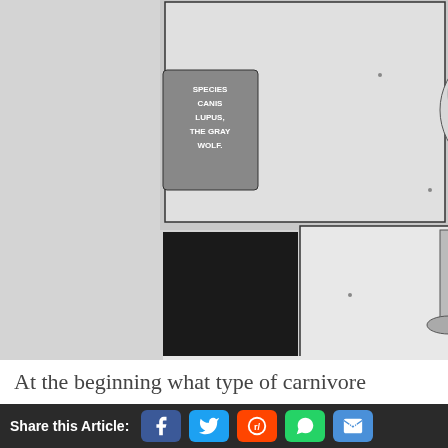[Figure (illustration): Manga comic page panels showing a gray wolf character (Legosi) from Beastars. Top panel: wolf head/face with speech box reading 'SPECIES CANIS LUPUS, THE GRAY WOLF.' and another box 'THE LARGEST CAND.' Middle panel: wolf legs/feet walking with small mushroom. Bottom large panel: full figure of wolf character standing with shadow, speech boxes 'HIS NAME' and 'IS LEGOSI.']
At the beginning what type of carnivore
Share this Article: